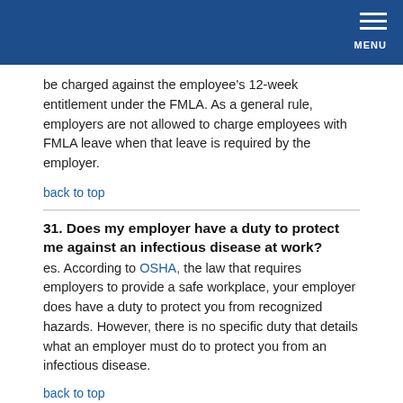MENU
be charged against the employee's 12-week entitlement under the FMLA. As a general rule, employers are not allowed to charge employees with FMLA leave when that leave is required by the employer.
back to top
31. Does my employer have a duty to protect me against an infectious disease at work?
es. According to OSHA, the law that requires employers to provide a safe workplace, your employer does have a duty to protect you from recognized hazards. However, there is no specific duty that details what an employer must do to protect you from an infectious disease.
back to top
32. Should I inform my supervisor if my co-worker is coughing at work?
Yes. If an employee arrives to work showing signs of an acute respiratory illness (such as cough or shortness of breath) or becomes sick during the day, the CDC recommends that the